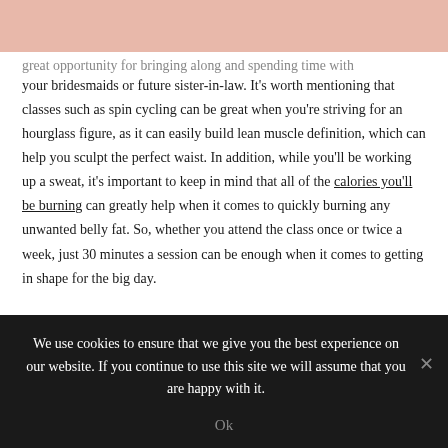great opportunity for bringing along and spending time with your bridesmaids or future sister-in-law. It's worth mentioning that classes such as spin cycling can be great when you're striving for an hourglass figure, as it can easily build lean muscle definition, which can help you sculpt the perfect waist. In addition, while you'll be working up a sweat, it's important to keep in mind that all of the calories you'll be burning can greatly help when it comes to quickly burning any unwanted belly fat. So, whether you attend the class once or twice a week, just 30 minutes a session can be enough when it comes to getting in shape for the big day.
We use cookies to ensure that we give you the best experience on our website. If you continue to use this site we will assume that you are happy with it. Ok